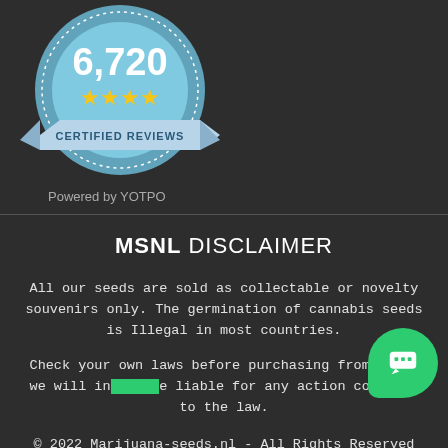[Figure (logo): YOTPO certified reviews badge showing 6,720 reviews with 4 gold stars and 'CERTIFIED REVIEWS' text on a blue ribbon badge]
Powered by YOTPO
MSNL DISCLAIMER
All our seeds are sold as collectable or novelty souvenirs only. The germination of cannabis seeds is Illegal in most countries.
Check your own laws before purchasing from us as we will in [obscured] liable for any action contrary to the law.
© 2022 Marijuana-seeds.nl - All Rights Reserved
27 Old Gloucester St, London, WC1N3AX, United Kingdom